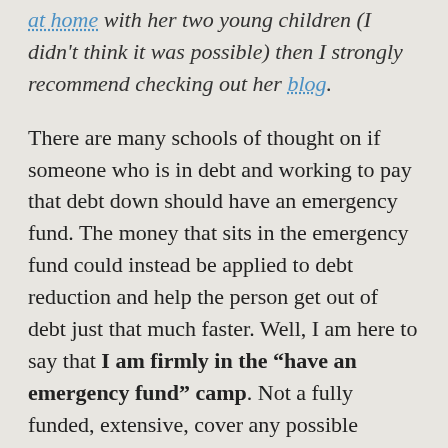at home with her two young children (I didn't think it was possible) then I strongly recommend checking out her blog.
There are many schools of thought on if someone who is in debt and working to pay that debt down should have an emergency fund. The money that sits in the emergency fund could instead be applied to debt reduction and help the person get out of debt just that much faster. Well, I am here to say that I am firmly in the “have an emergency fund” camp. Not a fully funded, extensive, cover any possible contingency emergency fund, but something that you can fall back on if small things come up so you don’t need to resort to using credit and increasing your debt.
Debt is more than a financial predicament. It can